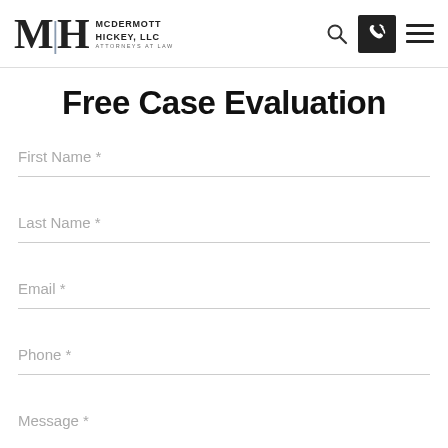McDermott Hickey, LLC — Attorneys at Law
Free Case Evaluation
First Name *
Last Name *
Email *
Phone *
Message *